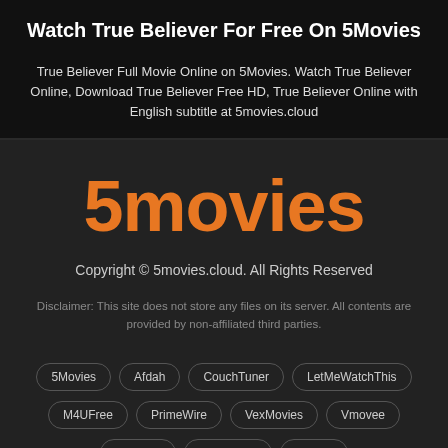Watch True Believer For Free On 5Movies
True Believer Full Movie Online on 5Movies. Watch True Believer Online, Download True Believer Free HD, True Believer Online with English subtitle at 5movies.cloud
[Figure (logo): 5movies logo in orange bold text]
Copyright © 5movies.cloud. All Rights Reserved
Disclaimer: This site does not store any files on its server. All contents are provided by non-affiliated third parties.
5Movies
Afdah
CouchTuner
LetMeWatchThis
M4UFree
PrimeWire
VexMovies
Vmovee
Watch5s
Watchtfree
Yify TV